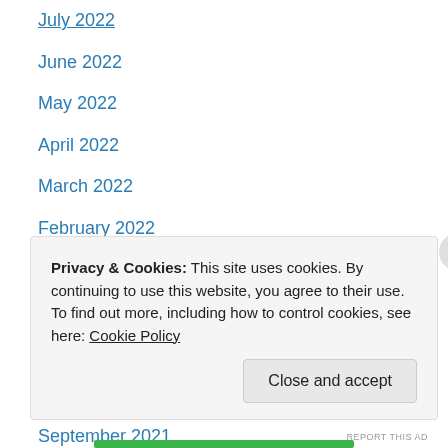July 2022
June 2022
May 2022
April 2022
March 2022
February 2022
January 2022
December 2021
November 2021
October 2021
September 2021
August 2021
July 2021
Privacy & Cookies: This site uses cookies. By continuing to use this website, you agree to their use.
To find out more, including how to control cookies, see here: Cookie Policy
Close and accept